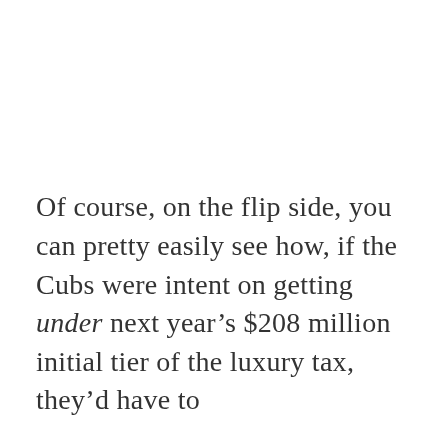Of course, on the flip side, you can pretty easily see how, if the Cubs were intent on getting under next year's $208 million initial tier of the luxury tax, they'd have to